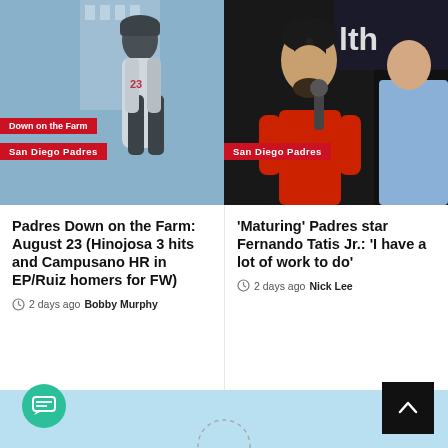[Figure (photo): Baseball player running, wearing a dark uniform with number, blurred stadium background. Badges: 'Down on the Farm' and 'San Diego Padres' in red.]
[Figure (photo): Fernando Tatis Jr. in red shirt being interviewed with microphone, another person visible in background. Badge: 'San Diego Padres' in red.]
Padres Down on the Farm: August 23 (Hinojosa 3 hits and Campusano HR in EP/Ruiz homers for FW)
2 days ago  Bobby Murphy
'Maturing' Padres star Fernando Tatis Jr.: 'I have a lot of work to do'
2 days ago  Nick Lee